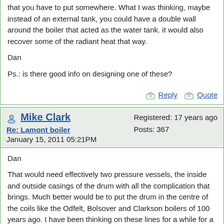that you have to put somewhere. What I was thinking, maybe instead of an external tank, you could have a double wall around the boiler that acted as the water tank. it would also recover some of the radiant heat that way.

Dan

Ps.: is there good info on designing one of these?
Reply  Quote
Mike Clark
Re: Lamont boiler
January 15, 2011 05:21PM
Registered: 17 years ago
Posts: 367
Dan

That would need effectively two pressure vessels, the inside and outside casings of the drum with all the complication that brings. Much better would be to put the drum in the centre of the coils like the Odfelt, Bolsover and Clarkson boilers of 100 years ago. I have been thinking on these lines for a while for a project I